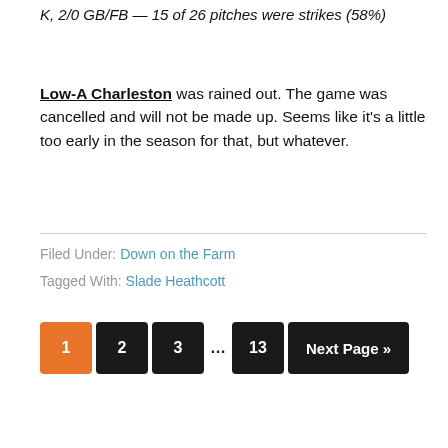K, 2/0 GB/FB — 15 of 26 pitches were strikes (58%)
Low-A Charleston was rained out. The game was cancelled and will not be made up. Seems like it’s a little too early in the season for that, but whatever.
Filed Under: Down on the Farm
Tagged With: Slade Heathcott
1
2
3
13
Next Page »